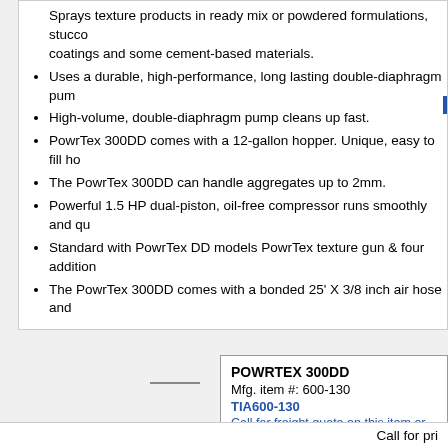Sprays texture products in ready mix or powdered formulations, stucco coatings and some cement-based materials.
Uses a durable, high-performance, long lasting double-diaphragm pump
High-volume, double-diaphragm pump cleans up fast.
PowrTex 300DD comes with a 12-gallon hopper. Unique, easy to fill hopper
The PowrTex 300DD can handle aggregates up to 2mm.
Powerful 1.5 HP dual-piston, oil-free compressor runs smoothly and quietly
Standard with PowrTex DD models PowrTex texture gun & four additional
The PowrTex 300DD comes with a bonded 25' X 3/8 inch air hose and
POWRTEX 300DD
Mfg. item #: 600-130
TIA600-130
Call for freight quote on this item or we will
Call for pri